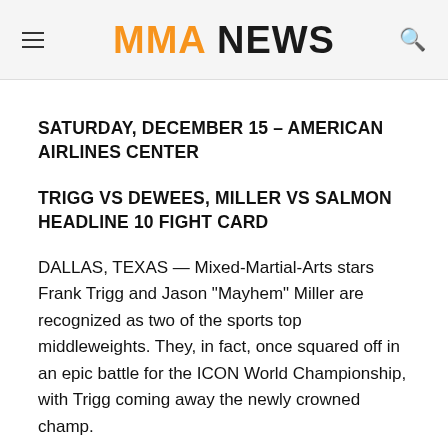MMA NEWS
SATURDAY, DECEMBER 15 – AMERICAN AIRLINES CENTER
TRIGG VS DEWEES, MILLER VS SALMON HEADLINE 10 FIGHT CARD
DALLAS, TEXAS — Mixed-Martial-Arts stars Frank Trigg and Jason “Mayhem” Miller are recognized as two of the sports top middleweights. They, in fact, once squared off in an epic battle for the ICON World Championship, with Trigg coming away the newly crowned champ.